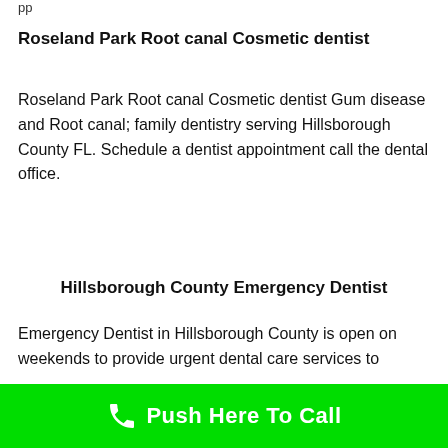pp
Roseland Park Root canal Cosmetic dentist
Roseland Park Root canal Cosmetic dentist Gum disease and Root canal; family dentistry serving Hillsborough County FL. Schedule a dentist appointment call the dental office.
Hillsborough County Emergency Dentist
Emergency Dentist in Hillsborough County is open on weekends to provide urgent dental care services to